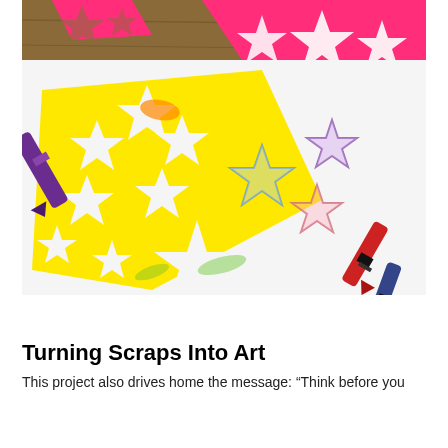[Figure (photo): A craft activity photo showing yellow star-shaped stencils with white star cutouts, crayons (purple, red, blue) on a white paper surface, with pink paper star cutouts in the background on a wooden surface. Star rubbings in blue, purple, and pink colors are visible on the white paper.]
Turning Scraps Into Art
This project also drives home the message: “Think before you